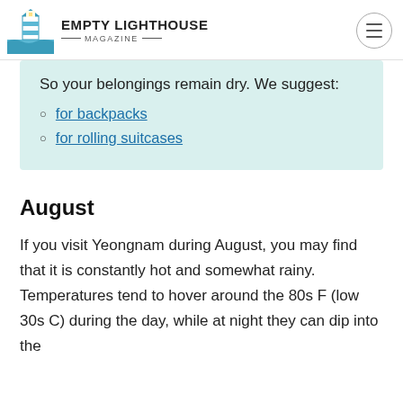EMPTY LIGHTHOUSE MAGAZINE
So your belongings remain dry. We suggest:
for backpacks
for rolling suitcases
August
If you visit Yeongnam during August, you may find that it is constantly hot and somewhat rainy. Temperatures tend to hover around the 80s F (low 30s C) during the day, while at night they can dip into the